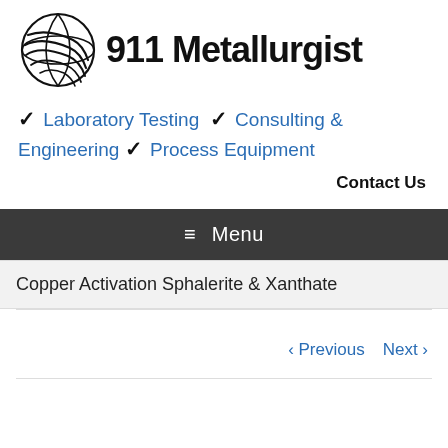[Figure (logo): 911 Metallurgist logo with globe/sphere icon and bold text '911 Metallurgist']
✓ Laboratory Testing ✓ Consulting & Engineering ✓ Process Equipment
Contact Us
≡ Menu
Copper Activation Sphalerite & Xanthate
‹ Previous   Next ›